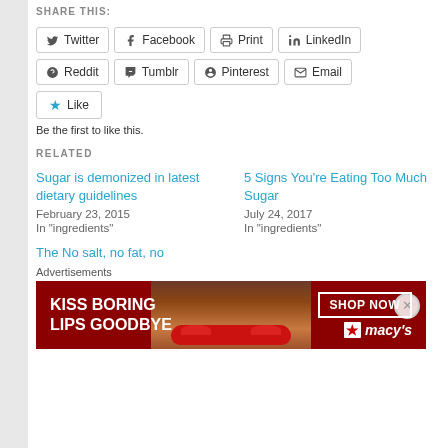SHARE THIS:
Twitter Facebook Print LinkedIn Reddit Tumblr Pinterest Email
Like
Be the first to like this.
RELATED
Sugar is demonized in latest dietary guidelines
February 23, 2015
In "ingredients"
5 Signs You're Eating Too Much Sugar
July 24, 2017
In "ingredients"
The No salt, no fat, no
Advertisements
[Figure (illustration): Macy's advertisement banner: red background with a woman's face showing red lips. Text reads KISS BORING LIPS GOODBYE with SHOP NOW button and Macy's logo with star.]